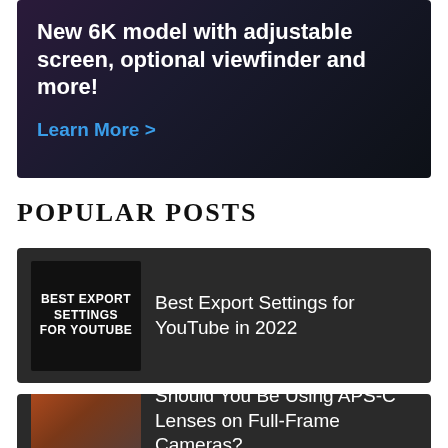[Figure (other): Dark purple-to-black gradient advertisement banner with white bold text 'New 6K model with adjustable screen, optional viewfinder and more!' and a blue 'Learn More >' call-to-action link.]
POPULAR POSTS
[Figure (screenshot): Dark card with thumbnail showing 'BEST EXPORT SETTINGS FOR YOUTUBE' text on black background, and title 'Best Export Settings for YouTube in 2022']
[Figure (screenshot): Dark card with thumbnail showing camera equipment outdoors, and title 'Should You Be Using APS-C Lenses on Full-Frame Cameras?']